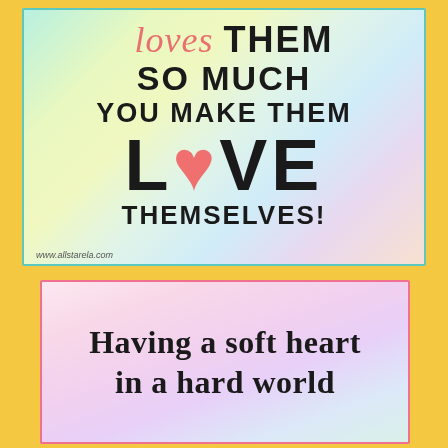[Figure (illustration): Colorful pastel background card with bold text reading 'loves THEM SO MUCH YOU MAKE THEM LOVE THEMSELVES!' with a pink heart replacing the 'O' in LOVE. Watermark: www.allstarela.com]
[Figure (illustration): Pink-bordered card with pastel gradient background reading 'Having a soft heart in a hard world' in bold serif font.]